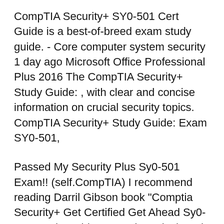CompTIA Security+ SY0-501 Cert Guide is a best-of-breed exam study guide. - Core computer system security 1 day ago Microsoft Office Professional Plus 2016 The CompTIA Security+ Study Guide: , with clear and concise information on crucial security topics. CompTIA Security+ Study Guide: Exam SY0-501,
Passed My Security Plus Sy0-501 Exam!! (self.CompTIA) I recommend reading Darril Gibson book "Comptia Security+ Get Certified Get Ahead Sy0-501 Study Guide." Security+ Flashcards (SY0-501) Security+ Flashcards (SY0-401) SY0-401 Study Guide in an online slide format that automatically goes